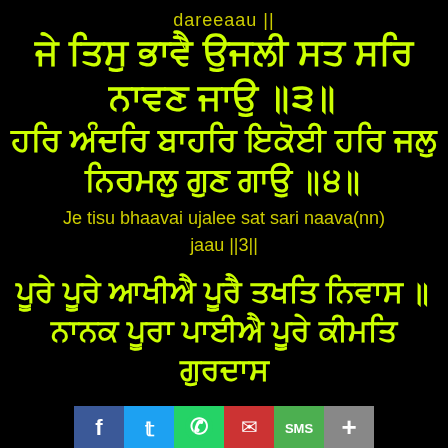dareeaau ||
ਜੇ ਤਿਸੁ ਭਾਵੈ ਉਜਲੀ ਸਤ ਸਰਿ ਨਾਵਣ ਜਾਉ ॥੩॥
[Gurmukhi script line 2]
Je tisu bhaavai ujalee sat sari naava(nn) jaau ||3||
ਪੂਰੇ ਪੂਰੇ ਆਖੀਐ ਪੂਰੈ ਤਖਤਿ ਨਿਵਾਸ ॥
[Gurmukhi script bottom line]